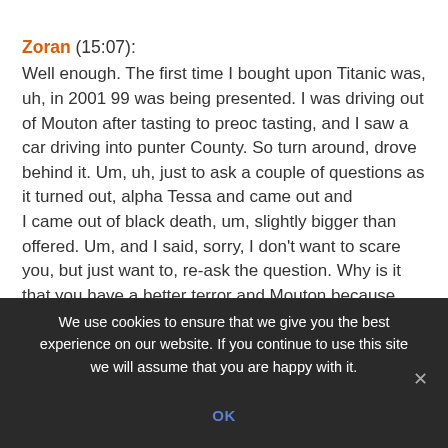Zoran (15:07):
Well enough. The first time I bought upon Titanic was, uh, in 2001 99 was being presented. I was driving out of Mouton after tasting to preoc tasting, and I saw a car driving into punter County. So turn around, drove behind it. Um, uh, just to ask a couple of questions as it turned out, alpha Tessa and came out and
I came out of black death, um, slightly bigger than offered. Um, and I said, sorry, I don't want to scare you, but just want to, re-ask the question. Why is it that you have a better terror and Mouton because they…
We use cookies to ensure that we give you the best experience on our website. If you continue to use this site we will assume that you are happy with it.
OK